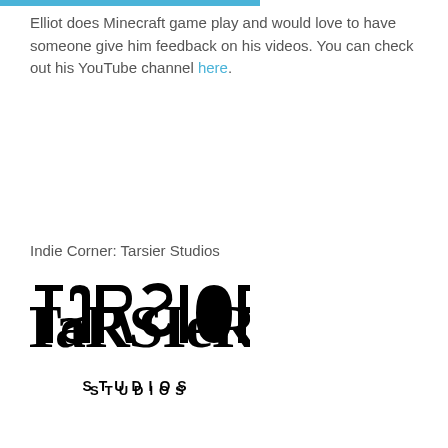Elliot does Minecraft game play and would love to have someone give him feedback on his videos. You can check out his YouTube channel here.
Indie Corner: Tarsier Studios
[Figure (logo): Tarsier Studios logo in black on white background, stylized gothic lettering for TARSIER with STUDIOS in capital letters below]